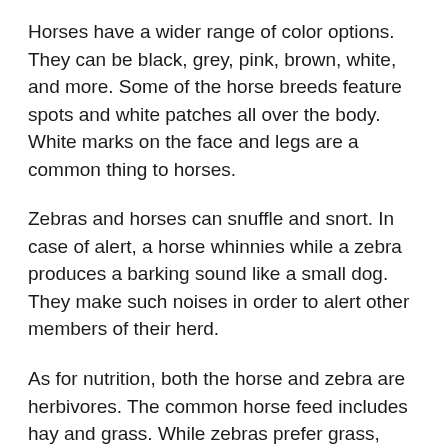Horses have a wider range of color options. They can be black, grey, pink, brown, white, and more. Some of the horse breeds feature spots and white patches all over the body. White marks on the face and legs are a common thing to horses.
Zebras and horses can snuffle and snort. In case of alert, a horse whinnies while a zebra produces a barking sound like a small dog. They make such noises in order to alert other members of their herd.
As for nutrition, both the horse and zebra are herbivores. The common horse feed includes hay and grass. While zebras prefer grass, bushes, and shrubs.